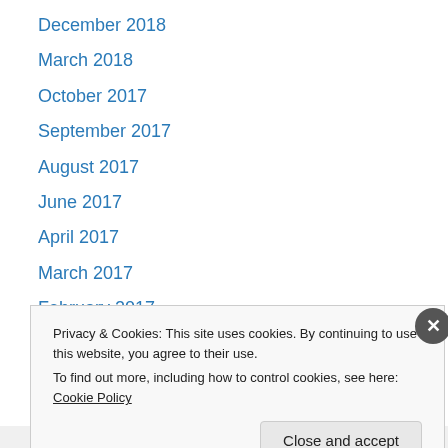December 2018
March 2018
October 2017
September 2017
August 2017
June 2017
April 2017
March 2017
February 2017
December 2016
October 2016
September 2016
August 2016
Privacy & Cookies: This site uses cookies. By continuing to use this website, you agree to their use. To find out more, including how to control cookies, see here: Cookie Policy